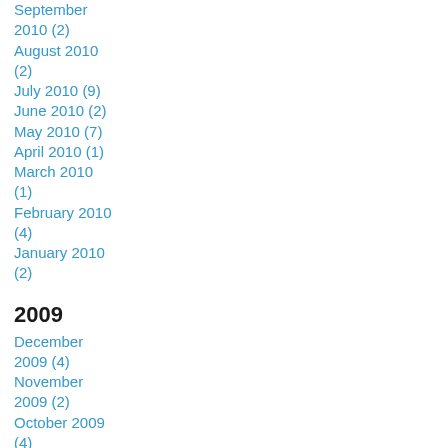September 2010 (2)
August 2010 (2)
July 2010 (9)
June 2010 (2)
May 2010 (7)
April 2010 (1)
March 2010 (1)
February 2010 (4)
January 2010 (2)
2009
December 2009 (4)
November 2009 (2)
October 2009 (4)
September 2009 (3)
August 2009 (1)